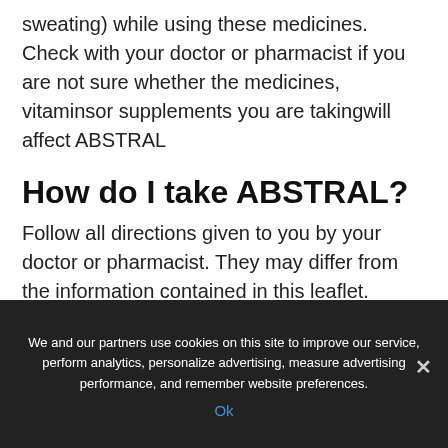sweating) while using these medicines.
Check with your doctor or pharmacist if you are not sure whether the medicines, vitaminsor supplements you are takingwill affect ABSTRAL
How do I take ABSTRAL?
Follow all directions given to you by your doctor or pharmacist. They may differ from the information contained in this leaflet.
If you do not understand the instructions for use, ask your doctor or pharmacist for help.
We and our partners use cookies on this site to improve our service, perform analytics, personalize advertising, measure advertising performance, and remember website preferences.
Ok